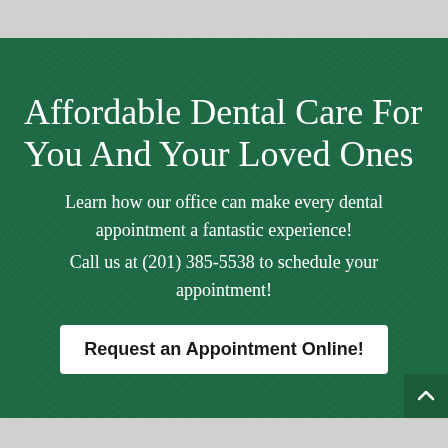Affordable Dental Care For You And Your Loved Ones
Learn how our office can make every dental appointment a fantastic experience!
Call us at (201) 385-5538 to schedule your appointment!
Request an Appointment Online!